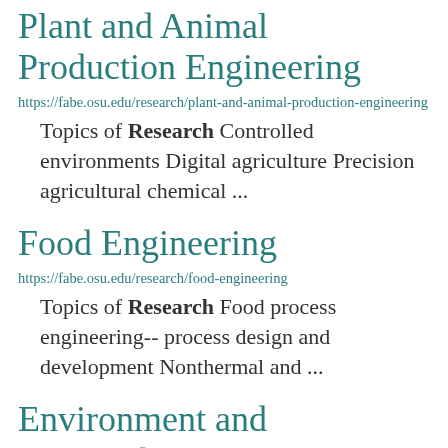Plant and Animal Production Engineering
https://fabe.osu.edu/research/plant-and-animal-production-engineering
Topics of Research Controlled environments Digital agriculture Precision agricultural chemical ...
Food Engineering
https://fabe.osu.edu/research/food-engineering
Topics of Research Food process engineering-- process design and development Nonthermal and ...
Environment and Sustainability